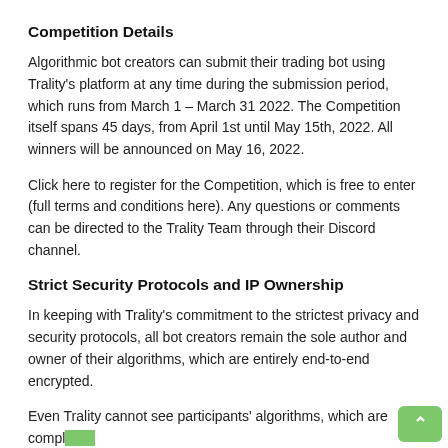Competition Details
Algorithmic bot creators can submit their trading bot using Trality's platform at any time during the submission period, which runs from March 1 – March 31 2022. The Competition itself spans 45 days, from April 1st until May 15th, 2022. All winners will be announced on May 16, 2022.
Click here to register for the Competition, which is free to enter (full terms and conditions here). Any questions or comments can be directed to the Trality Team through their Discord channel.
Strict Security Protocols and IP Ownership
In keeping with Trality's commitment to the strictest privacy and security protocols, all bot creators remain the sole author and owner of their algorithms, which are entirely end-to-end encrypted.
Even Trality cannot see participants' algorithms, which are completely confidential and securely stored. The intellectual property for each